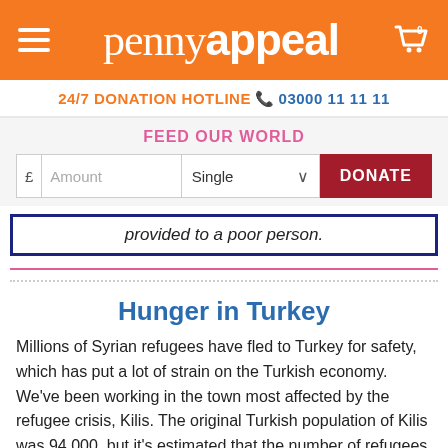penny appeal
24/7 DONATION HOTLINE 03000 11 11 11
FEED OUR WORLD
provided to a poor person.
Hunger in Turkey
Millions of Syrian refugees have fled to Turkey for safety, which has put a lot of strain on the Turkish economy. We've been working in the town most affected by the refugee crisis, Kilis. The original Turkish population of Kilis was 94,000, but it's estimated that the number of refugees